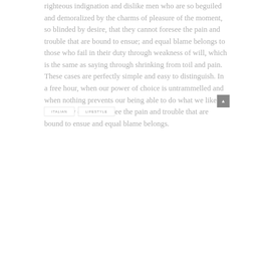righteous indignation and dislike men who are so beguiled and demoralized by the charms of pleasure of the moment, so blinded by desire, that they cannot foresee the pain and trouble that are bound to ensue; and equal blame belongs to those who fail in their duty through weakness of will, which is the same as saying through shrinking from toil and pain. These cases are perfectly simple and easy to distinguish. In a free hour, when our power of choice is untrammelled and when nothing prevents our being able to do what we like best, They cannot foresee the pain and trouble that are bound to ensue and equal blame belongs.
ITALIAN
LIFESTYLE